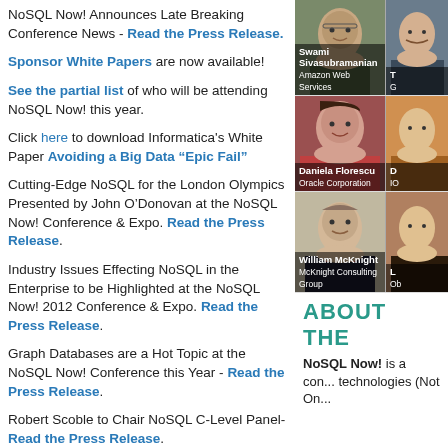NoSQL Now! Announces Late Breaking Conference News - Read the Press Release.
Sponsor White Papers are now available!
See the partial list of who will be attending NoSQL Now! this year.
Click here to download Informatica's White Paper Avoiding a Big Data “Epic Fail”
Cutting-Edge NoSQL for the London Olympics Presented by John O’Donovan at the NoSQL Now! Conference & Expo. Read the Press Release.
Industry Issues Effecting NoSQL in the Enterprise to be Highlighted at the NoSQL Now! 2012 Conference & Expo. Read the Press Release.
Graph Databases are a Hot Topic at the NoSQL Now! Conference this Year - Read the Press Release.
Robert Scoble to Chair NoSQL C-Level Panel- Read the Press Release.
[Figure (photo): Swami Sivasubramanian, Amazon Web Services - speaker photo]
[Figure (photo): Partial second speaker photo (cropped)]
[Figure (photo): Daniela Florescu, Oracle Corporation - speaker photo]
[Figure (photo): Partial fourth speaker photo (cropped)]
[Figure (photo): William McKnight, McKnight Consulting Group - speaker photo]
[Figure (photo): Partial sixth speaker photo (cropped)]
ABOUT THE
NoSQL Now! is a con... technologies (Not On...